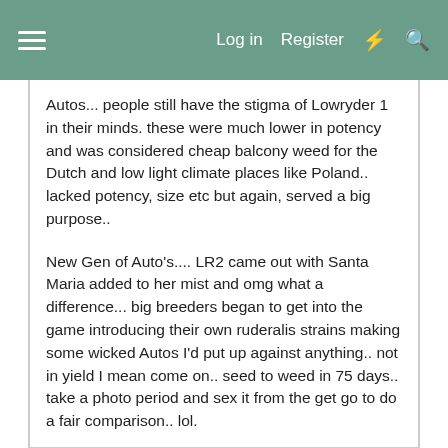Log in  Register
Autos... people still have the stigma of Lowryder 1 in their minds. these were much lower in potency and was considered cheap balcony weed for the Dutch and low light climate places like Poland.. lacked potency, size etc but again, served a big purpose..
New Gen of Auto's.... LR2 came out with Santa Maria added to her mist and omg what a difference... big breeders began to get into the game introducing their own ruderalis strains making some wicked Autos I'd put up against anything.. not in yield I mean come on.. seed to weed in 75 days.. take a photo period and sex it from the get go to do a fair comparison.. lol.
Not sure about Autos.... I recommend Gabagoo by this guy named Carty... lol